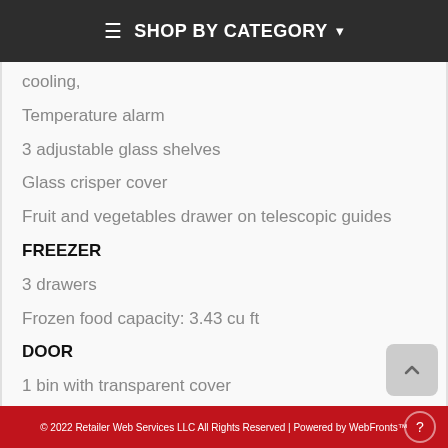SHOP BY CATEGORY
cooling,
Temperature alarm
3 adjustable glass shelves
Glass crisper cover
Fruit and vegetables drawer on telescopic guides
FREEZER
3 drawers
Frozen food capacity: 3.43 cu ft
DOOR
1 bin with transparent cover
1 bottle storage bin
2 adjustable bins
© 2022 Retailer Web Services LLC All Rights Reserved | Powered by WebFronts™